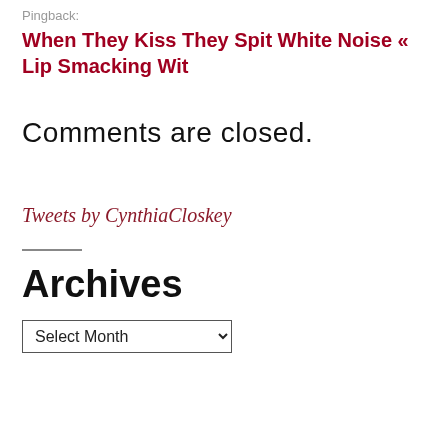Pingback:
When They Kiss They Spit White Noise « Lip Smacking Wit
Comments are closed.
Tweets by CynthiaCloskey
Archives
Select Month